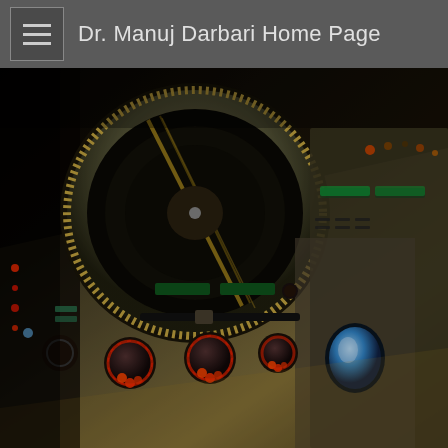Dr. Manuj Darbari Home Page
[Figure (photo): Close-up photo of a DJ turntable and mixer console with illuminated red knobs, gold/silver faders, green LCD displays, and a blue button. Dark background with warm yellow-gold lighting on the equipment surface.]